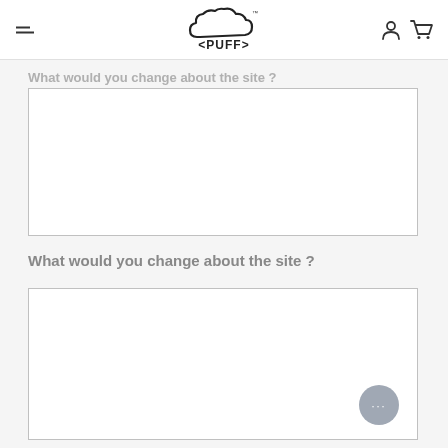PUFF
What would you change about the site ?
[text area - empty]
What would you change about the site ?
[text area - empty]